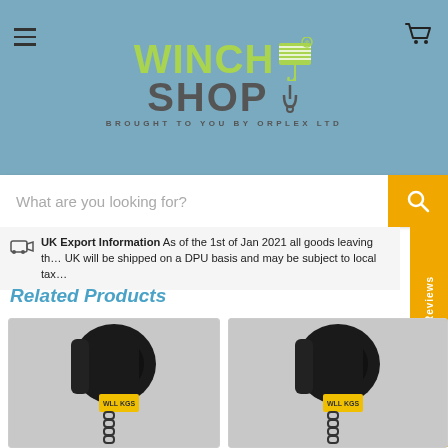[Figure (logo): Winch Shop logo with green WINCH text and grey SHOP text on teal background, with tagline BROUGHT TO YOU BY ORPLEX LTD]
What are you looking for?
UK Export Information As of the 1st of Jan 2021 all goods leaving the UK will be shipped on a DPU basis and may be subject to local tax
Related Products
[Figure (photo): Black lever hoist/chain block product photo]
[Figure (photo): Black lever hoist/chain block product photo (second)]